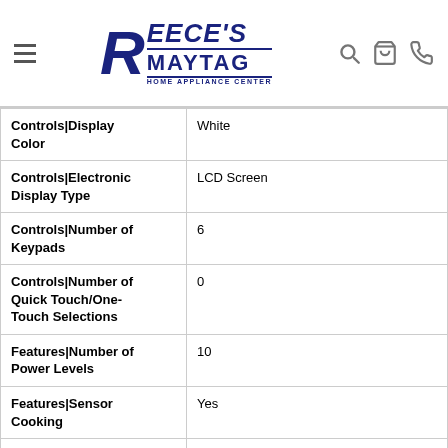[Figure (logo): Reece's Maytag Home Appliance Center logo with hamburger menu icon and header icons (search, cart, phone)]
| Feature | Value |
| --- | --- |
| Controls|Display Color | White |
| Controls|Electronic Display Type | LCD Screen |
| Controls|Number of Keypads | 6 |
| Controls|Number of Quick Touch/One-Touch Selections | 0 |
| Features|Number of Power Levels | 10 |
| Features|Sensor Cooking | Yes |
| Features|Clock | Yes |
| Features|Cooking | Convection Rack,Cooking Rack,Steamer |